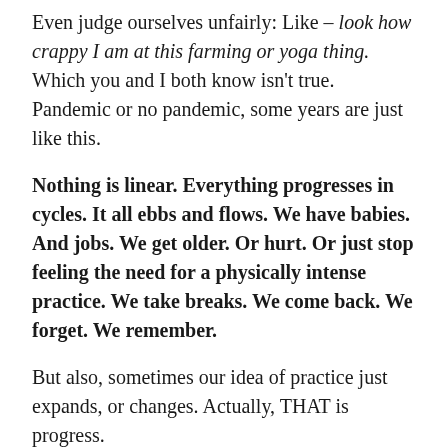Even judge ourselves unfairly: Like – look how crappy I am at this farming or yoga thing. Which you and I both know isn't true. Pandemic or no pandemic, some years are just like this.
Nothing is linear. Everything progresses in cycles. It all ebbs and flows. We have babies. And jobs. We get older. Or hurt. Or just stop feeling the need for a physically intense practice. We take breaks. We come back. We forget. We remember.
But also, sometimes our idea of practice just expands, or changes. Actually, THAT is progress.
Like gardening has become a practice for me — an outgrowth, if you will, of what we do on our mat. I have my daily ritual of watering and weeding. I